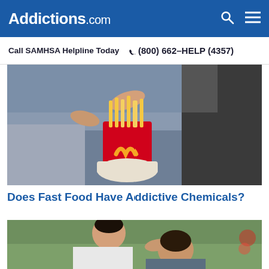Addictions.com
Call SAMHSA Helpline Today  📞 (800) 662-HELP (4357)
[Figure (photo): Person holding McDonald's french fries container outdoors, another person in dark jacket visible in background]
Does Fast Food Have Addictive Chemicals?
[Figure (photo): Two men outdoors, one consoling the other who has his head bowed, green foliage in background]